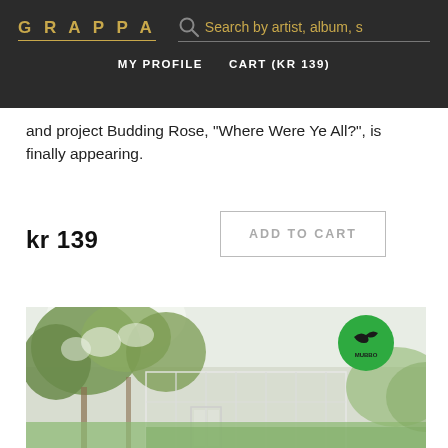GRAPPA | Search by artist, album, s | MY PROFILE  CART (KR 139)
and project Budding Rose, "Where Were Ye All?", is finally appearing.
kr 139
ADD TO CART
[Figure (photo): Album cover photo showing a greenhouse with white metal frame structure in a garden, surrounded by leafy trees and green grass. A green circular label with a bird logo (MUBBO) is visible in the upper right corner of the image.]